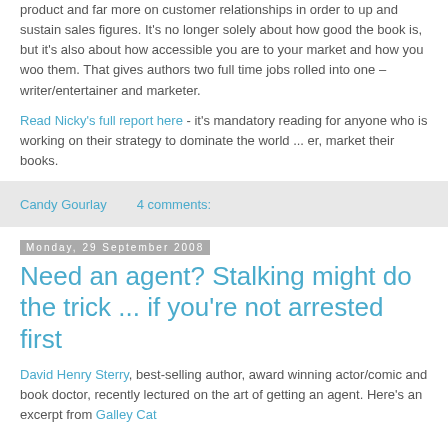product and far more on customer relationships in order to up and sustain sales figures. It's no longer solely about how good the book is, but it's also about how accessible you are to your market and how you woo them. That gives authors two full time jobs rolled into one – writer/entertainer and marketer.
Read Nicky's full report here - it's mandatory reading for anyone who is working on their strategy to dominate the world ... er, market their books.
Candy Gourlay    4 comments:
Monday, 29 September 2008
Need an agent? Stalking might do the trick ... if you're not arrested first
David Henry Sterry, best-selling author, award winning actor/comic and book doctor, recently lectured on the art of getting an agent. Here's an excerpt from Galley Cat